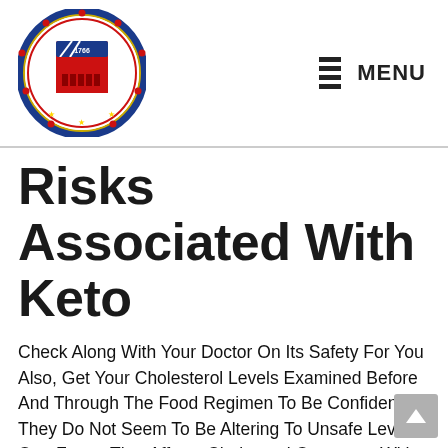[Figure (logo): Circular seal/logo of Probinsya ng Rizal, Philippines, with text 'Bayan ng Angono, Rizal', year 1766, and colorful coat of arms in the center]
MENU
Risks Associated With Keto
Check Along With Your Doctor On Its Safety For You Also, Get Your Cholesterol Levels Examined Before And Through The Food Regimen To Be Confident They Do Not Seem To Be Altering To Unsafe Levels One Factor That Affects Choleserol Outcomes With Keto Is The Kind Of Fats Consumed, With Unsaturated Fat Being Most Popular Genetics Can Also Play A